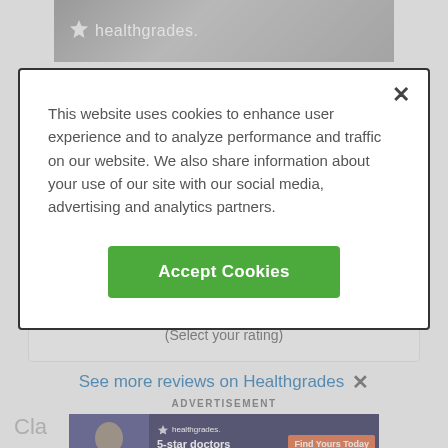[Figure (screenshot): Healthgrades website header banner with logo and person image]
This website uses cookies to enhance user experience and to analyze performance and traffic on our website. We also share information about your use of our site with our social media, advertising and analytics partners.
Accept Cookies
(Select your rating)
See more reviews on Healthgrades
ADVERTISEMENT
[Figure (screenshot): Healthgrades advertisement banner: 5-star doctors really do exist. Find Yours Today.]